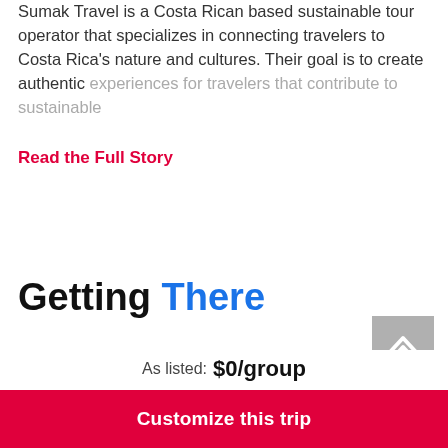Sumak Travel is a Costa Rican based sustainable tour operator that specializes in connecting travelers to Costa Rica's nature and cultures. Their goal is to create authentic experiences for travelers that contribute to sustainable
Read the Full Story
Getting There
[Figure (illustration): Back-to-top arrow button icon in gray]
Fly into San José to start your trip.
As listed: $0/group
Customize this trip